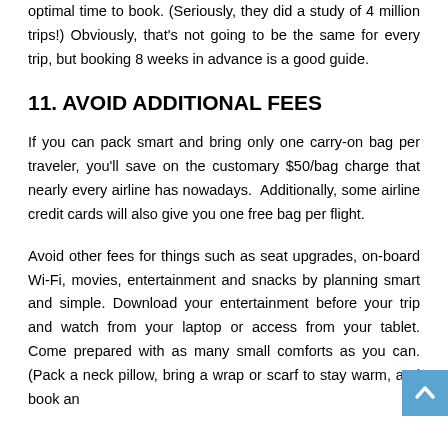optimal time to book. (Seriously, they did a study of 4 million trips!) Obviously, that's not going to be the same for every trip, but booking 8 weeks in advance is a good guide.
11. AVOID ADDITIONAL FEES
If you can pack smart and bring only one carry-on bag per traveler, you'll save on the customary $50/bag charge that nearly every airline has nowadays. Additionally, some airline credit cards will also give you one free bag per flight.
Avoid other fees for things such as seat upgrades, on-board Wi-Fi, movies, entertainment and snacks by planning smart and simple. Download your entertainment before your trip and watch from your laptop or access from your tablet. Come prepared with as many small comforts as you can. (Pack a neck pillow, bring a wrap or scarf to stay warm, and book an